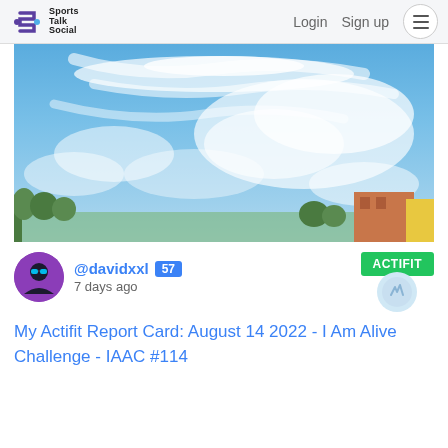Sports Talk Social  Login  Sign up
[Figure (photo): Outdoor sky photo showing a bright blue sky with wispy white clouds and city rooftops in the lower right corner]
@davidxxl 57  7 days ago  ACTIFIT
My Actifit Report Card: August 14 2022 - I Am Alive Challenge - IAAC #114